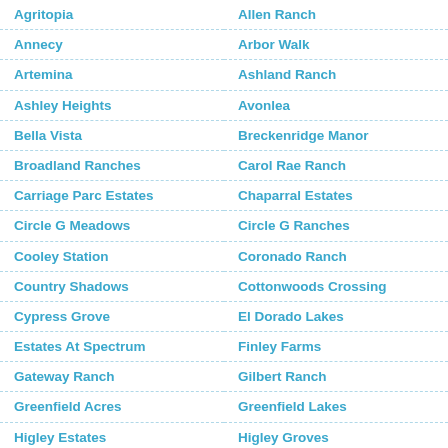Agritopia
Allen Ranch
Annecy
Arbor Walk
Artemina
Ashland Ranch
Ashley Heights
Avonlea
Bella Vista
Breckenridge Manor
Broadland Ranches
Carol Rae Ranch
Carriage Parc Estates
Chaparral Estates
Circle G Meadows
Circle G Ranches
Cooley Station
Coronado Ranch
Country Shadows
Cottonwoods Crossing
Cypress Grove
El Dorado Lakes
Estates At Spectrum
Finley Farms
Gateway Ranch
Gilbert Ranch
Greenfield Acres
Greenfield Lakes
Higley Estates
Higley Groves
Lago Estancia
Lindsay Estates